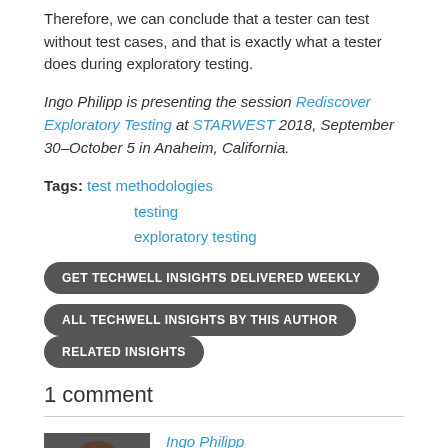Therefore, we can conclude that a tester can test without test cases, and that is exactly what a tester does during exploratory testing.
Ingo Philipp is presenting the session Rediscover Exploratory Testing at STARWEST 2018, September 30–October 5 in Anaheim, California.
Tags: test methodologies
      testing
      exploratory testing
GET TECHWELL INSIGHTS DELIVERED WEEKLY
ALL TECHWELL INSIGHTS BY THIS AUTHOR
RELATED INSIGHTS
1 comment
Ingo Philipp
I want to make it clear that this article only summarizes a tiny little bit of the brilliant thoughts of James Bach, Michael Bolton, and Greg Kramer about testing. I encourage you to read...